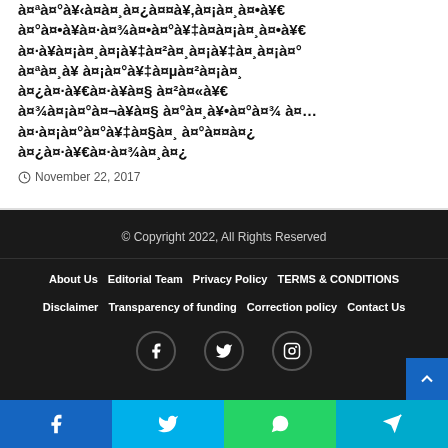à¤ªà¤°à¥à¤¯à¤¾à¤µà¤°à¤£ à¤•à¥€ à¤°à¤•à¥à¤·à¤¾ à¤•à¤°à¤¨à¥‡ à¤µà¤¾à¤²à¥‡ à¤œà¥€à¤µà¤¾à¤£à¥
November 22, 2017
© Copyright 2022, All Rights Reserved
About Us
Editorial Team
Privacy Policy
TERMS & CONDITIONS
Disclaimer
Transparency of funding
Correction policy
Contact Us